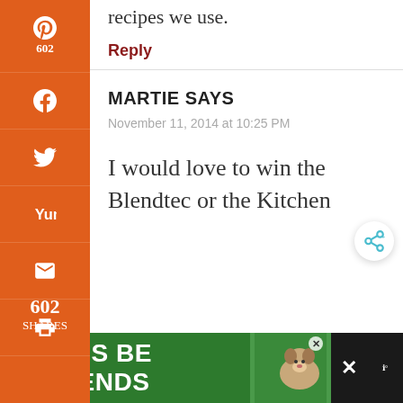recipes we use.
Reply
MARTIE SAYS
November 11, 2014 at 10:25 PM
I would love to win the Blendtec or the Kitchen
[Figure (screenshot): Green advertisement banner at bottom reading LET'S BE FRIENDS with a dog image and close/temperature icons]
[Figure (infographic): Orange social media sidebar with Pinterest (602), Facebook, Twitter, Yummly, Email, Print icons and 602 SHARES count]